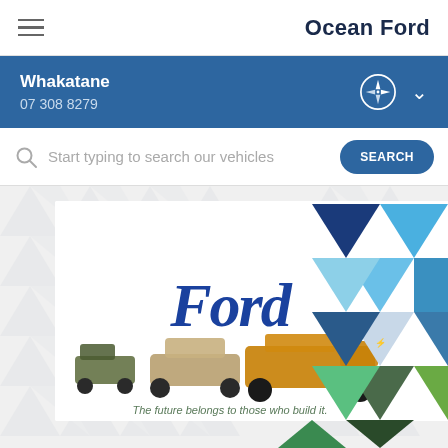Ocean Ford
Whakatane
07 308 8279
Start typing to search our vehicles
[Figure (screenshot): Ford promotional banner showing historic and modern Ford vehicles with 'Ford' logo script and tagline 'The future belongs to those who build it', alongside a geometric triangle collage of blue and green vehicle images]